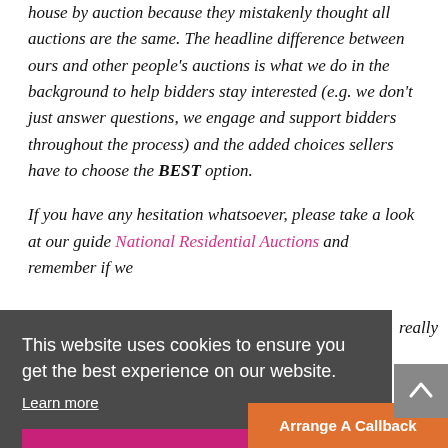house by auction because they mistakenly thought all auctions are the same. The headline difference between ours and other people's auctions is what we do in the background to help bidders stay interested (e.g. we don't just answer questions, we engage and support bidders throughout the process) and the added choices sellers have to choose the BEST option.
If you have any hesitation whatsoever, please take a look at our guide National Residential Auctions and remember if we … really … to … s … n … ting and have time to make enqui… ty before
This website uses cookies to ensure you get the best experience on our website.
Learn more
Got it!
Arrange A Callback